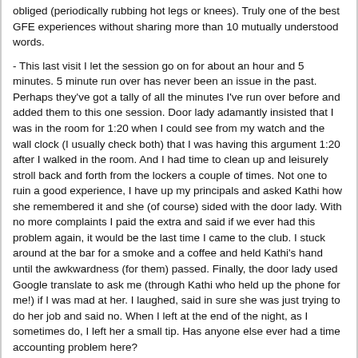obliged (periodically rubbing hot legs or knees). Truly one of the best GFE experiences without sharing more than 10 mutually understood words.
- This last visit I let the session go on for about an hour and 5 minutes. 5 minute run over has never been an issue in the past. Perhaps they've got a tally of all the minutes I've run over before and added them to this one session. Door lady adamantly insisted that I was in the room for 1:20 when I could see from my watch and the wall clock (I usually check both) that I was having this argument 1:20 after I walked in the room. And I had time to clean up and leisurely stroll back and forth from the lockers a couple of times. Not one to ruin a good experience, I have up my principals and asked Kathi how she remembered it and she (of course) sided with the door lady. With no more complaints I paid the extra and said if we ever had this problem again, it would be the last time I came to the club. I stuck around at the bar for a smoke and a coffee and held Kathi's hand until the awkwardness (for them) passed. Finally, the door lady used Google translate to ask me (through Kathi who held up the phone for me!) if I was mad at her. I laughed, said in sure she was just trying to do her job and said no. When I left at the end of the night, as I sometimes do, I left her a small tip. Has anyone else ever had a time accounting problem here?
- Vanessa is a good time, but certainly a YMMV kind of experience. I wouldn't be surprised if most wouldn't connect with her. We share laughs from a distance (we have an inside joke) while I pursue Kathi or relax with a smoke and catch up on texts and emails between sessions. Eventually she usually breaks me down and we have a session on one of the couches or in one of the rooms. Her tits are amazing. And this from someone who appreciates a nice A / be cup over anything bigger usually. Not GFE in the literal sense like it is with Kathi, but still a good time. And I kind of like how she's a little uncomfortable but still willing to do a public session.
- All his chatter about STIs made it hard to find useful info about this club in particular. I agree it should have its own forum. Took me until now to find mention of Roberta. Checked the website and now I'm wishing I'd read the recommendations more thoroughly. She isn't one ID usually session with, but sounds like she'd be worth the try!
Sorry for the long, rambling post. Just figured it was finally time for me to post a general report on what I think is one of the best clubs in the world (and that's